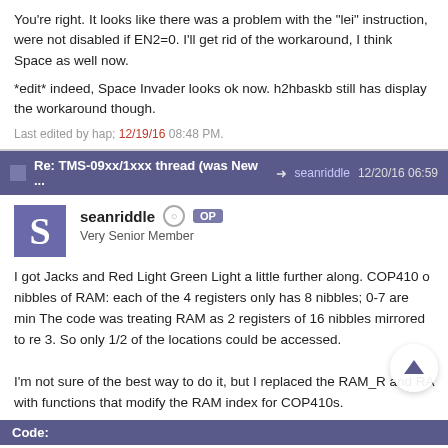You're right. It looks like there was a problem with the "lei" instruction, were not disabled if EN2=0. I'll get rid of the workaround, I think Space as well now.
*edit* indeed, Space Invader looks ok now. h2hbaskb still has display the workaround though.
Last edited by hap; 12/19/16 08:48 PM.
Re: TMS-09xx/1xxx thread (was New ... seanriddle 12/20/16 06:59
seanriddle OP Very Senior Member
I got Jacks and Red Light Green Light a little further along. COP410 o nibbles of RAM: each of the 4 registers only has 8 nibbles; 0-7 are min The code was treating RAM as 2 registers of 16 nibbles mirrored to re 3. So only 1/2 of the locations could be accessed.
I'm not sure of the best way to do it, but I replaced the RAM_R and RA with functions that modify the RAM index for COP410s.
Code: